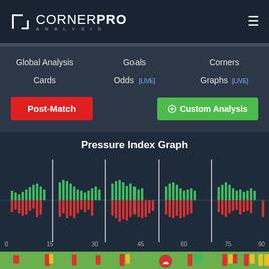CORNERPRO ANALYSIS
Global Analysis
Goals
Corners
Cards
Odds [LIVE]
Graphs [LIVE]
Post-Match
Custom Analysis
Pressure Index Graph
[Figure (bar-chart): Bidirectional bar chart showing pressure index over match time (0-90 minutes). Green bars above the axis represent home pressure, red bars below represent away pressure. Vertical white lines mark intervals. X-axis labels: 0, 15, 30, 45, 60, 75, 90.]
[Figure (infographic): Timeline bar showing match events (flags, cards, icons) along the bottom of the pressure graph.]
Avg Pressure Index Home: : 11.22